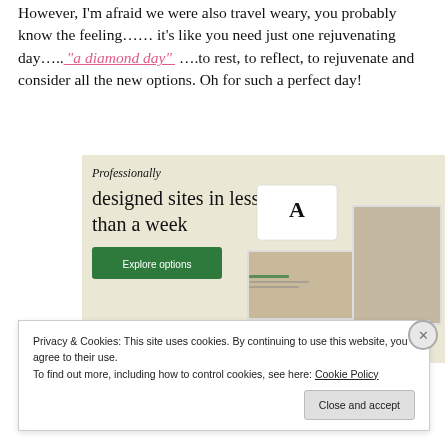However, I'm afraid we were also travel weary, you probably know the feeling…… it's like you need just one rejuvenating day…..⁠ "a diamond day" ….to rest, to reflect, to rejuvenate and consider all the new options. Oh for such a perfect day!
[Figure (screenshot): Advertisement banner with beige background showing text 'Professionally designed sites in less than a week' with a green 'Explore options' button and a mockup of website designs on the right side.]
Privacy & Cookies: This site uses cookies. By continuing to use this website, you agree to their use.
To find out more, including how to control cookies, see here: Cookie Policy
Close and accept